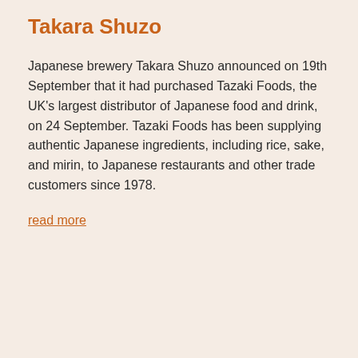Takara Shuzo
Japanese brewery Takara Shuzo announced on 19th September that it had purchased Tazaki Foods, the UK's largest distributor of Japanese food and drink, on 24 September. Tazaki Foods has been supplying authentic Japanese ingredients, including rice, sake, and mirin, to Japanese restaurants and other trade customers since 1978.
read more